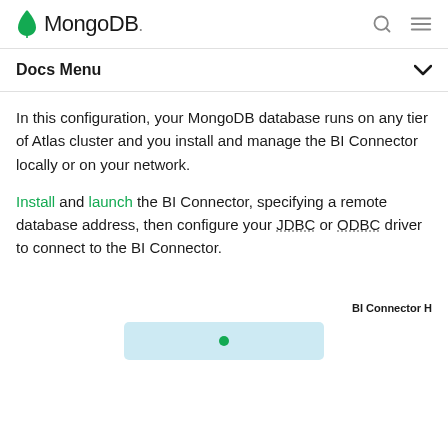MongoDB
Docs Menu
In this configuration, your MongoDB database runs on any tier of Atlas cluster and you install and manage the BI Connector locally or on your network.
Install and launch the BI Connector, specifying a remote database address, then configure your JDBC or ODBC driver to connect to the BI Connector.
BI Connector H
[Figure (illustration): Partial diagram preview with teal/light-blue background and a green icon at the bottom of the page]